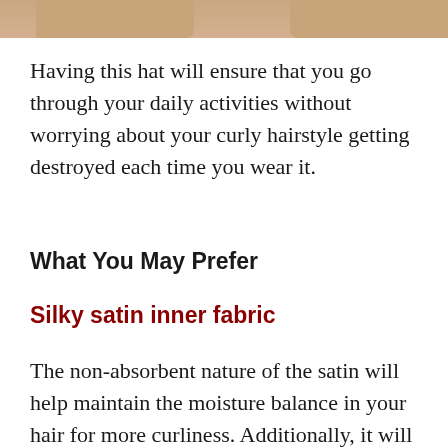[Figure (photo): Partial view of two product photos showing hair/skin tones at the top of the page]
Having this hat will ensure that you go through your daily activities without worrying about your curly hairstyle getting destroyed each time you wear it.
What You May Prefer
Silky satin inner fabric
The non-absorbent nature of the satin will help maintain the moisture balance in your hair for more curliness. Additionally, it will help in preventing frizz when you wake up in the morning.